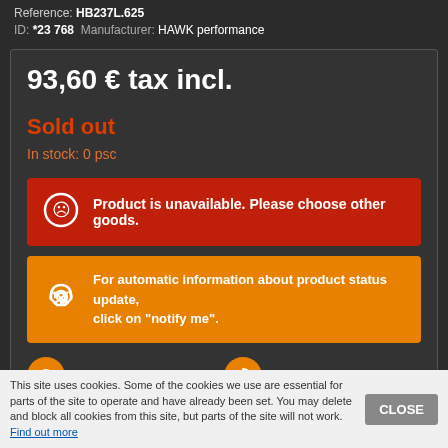Reference: HB237L.625
ID: *23 768  Manufacturer: HAWK performance
93,60 € tax incl.
Sold out
In stock: 0 psc
Product is unavailable. Please choose other goods.
For automatic information about product status update, click on "notify me".
Otázka k produktu
Notify me
This site uses cookies. Some of the cookies we use are essential for parts of the site to operate and have already been set. You may delete and block all cookies from this site, but parts of the site will not work. Find out more